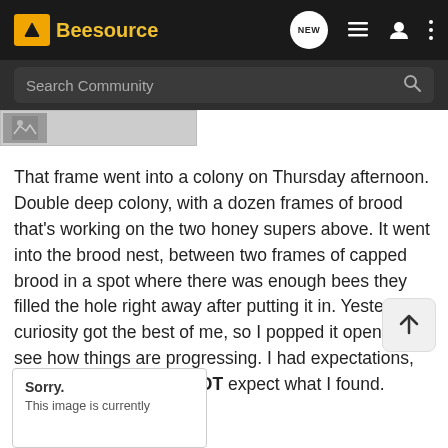[Figure (screenshot): Beesource community forum website header with logo, NEW chat bubble, list icon, user icon, and more options icon on dark background]
[Figure (screenshot): Search Community search bar on dark grey background with magnifying glass icon]
[Figure (screenshot): Partial grey image thumbnail partially visible]
That frame went into a colony on Thursday afternoon. Double deep colony, with a dozen frames of brood that's working on the two honey supers above. It went into the brood nest, between two frames of capped brood in a spot where there was enough bees they filled the hole right away after putting it in. Yesterday curiosity got the best of me, so I popped it open to see how things are progressing. I had expectations, but, I must admit I did NOT expect what I found.
[Figure (screenshot): Sorry. This image is currently unavailable placeholder box]